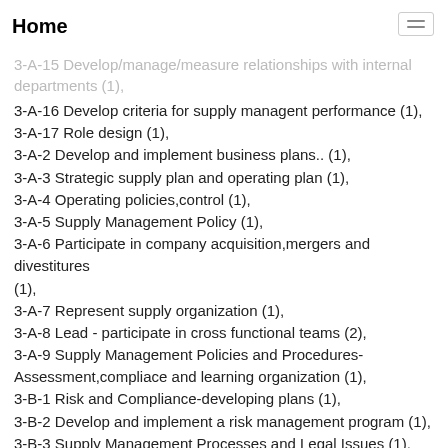Home
3-A-14 conduct/authorize training for the professional development of staff (1),
3-A-15 Develop/manage/measure relationships with internal departments (1),
3-A-16 Develop criteria for supply managent performance (1),
3-A-17 Role design (1),
3-A-2 Develop and implement business plans.. (1),
3-A-3 Strategic supply plan and operating plan (1),
3-A-4 Operating policies,control (1),
3-A-5 Supply Management Policy (1),
3-A-6 Participate in company acquisition,mergers and divestitures (1),
3-A-7 Represent supply organization (1),
3-A-8 Lead - participate in cross functional teams (2),
3-A-9 Supply Management Policies and Procedures-Assessment,compliace and learning organization (1),
3-B-1 Risk and Compliance-developing plans (1),
3-B-2 Develop and implement a risk management program (1),
3-B-3 Supply Management Processes and Legal Issues (1),
3-B-4 Develop/implement/maintain database (1),
3-B-5 Verify existence,accuracy and completeness of financial commitments to third parties (1),
3-B-6 Assess risk for life-cycle and risk mitigation contingency